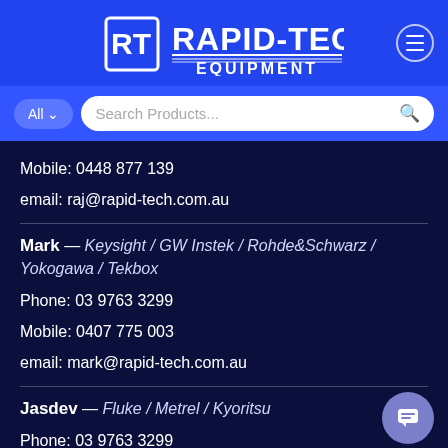[Figure (logo): Rapid-Tech Equipment logo with RT initials in a square, white text on blue background, with hamburger menu icon]
All  Search Products...
Mobile: 0448 877 139
email: raj@rapid-tech.com.au
Mark — Keysight / GW Instek / Rohde&Schwarz / Yokogawa / Tekbox
Phone: 03 9763 3299
Mobile: 0407 775 003
email: mark@rapid-tech.com.au
Jasdev — Fluke / Metrel / Kyoritsu
Phone: 03 9763 3299